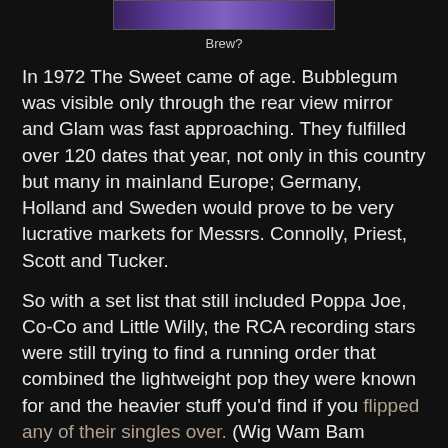[Figure (photo): Partial image at top of page, appears to be a band or album-related image with purple/dark tones]
Brew?
In 1972 The Sweet came of age. Bubblegum was visible only through the rear view mirror and Glam was fast approaching. They fulfilled over 120 dates that year, not only in this country but many in mainland Europe; Germany, Holland and Sweden would prove to be very lucrative markets for Messrs. Connolly, Priest, Scott and Tucker.
So with a set list that still included Poppa Joe, Co-Co and Little Willy, the RCA recording stars were still trying to find a running order that combined the lightweight pop they were known for and the heavier stuff you'd find if you flipped any of their singles over. (Wig Wam Bam wouldn't be released 'til September). The perfect vehicle to bridge the two distinct elements of their set was a Who medley - My Generation would eventually turn up on Desolation Boulevard - giving Andy Scott the chance to emulate his guitar hero, Pete Townshend. In fact, were it not for Brian Connolly's antics a couple of years later, The Sweet would have supported The Who at Charlton in '74. But that's another story.